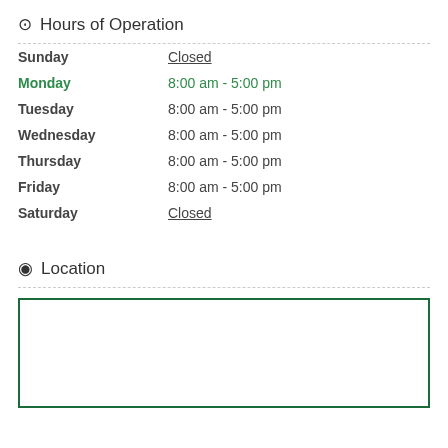Hours of Operation
Sunday   Closed
Monday   8:00 am - 5:00 pm
Tuesday   8:00 am - 5:00 pm
Wednesday   8:00 am - 5:00 pm
Thursday   8:00 am - 5:00 pm
Friday   8:00 am - 5:00 pm
Saturday   Closed
Location
[Figure (map): Empty map placeholder with green border]